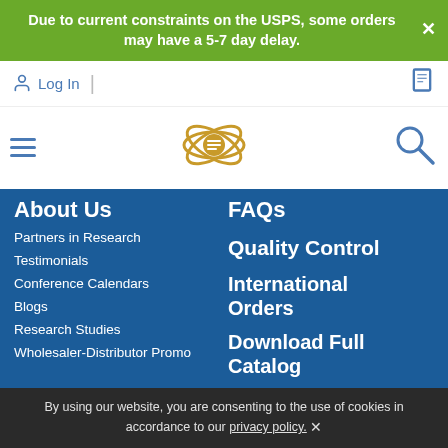Due to current constraints on the USPS, some orders may have a 5-7 day delay.
Log In
[Figure (logo): Atomic/molecule logo icon in gold/yellow]
[Figure (illustration): Search magnifying glass icon in blue]
About Us
Partners in Research
Testimonials
Conference Calendars
Blogs
Research Studies
Wholesaler-Distributor Promo
FAQs
Quality Control
International Orders
Download Full Catalog
By using our website, you are consenting to the use of cookies in accordance to our privacy policy. ✕